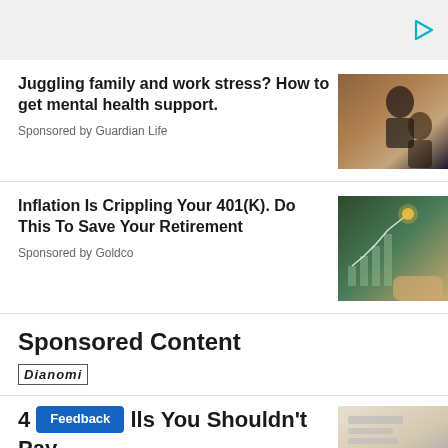[Figure (other): Ad banner with play/video icon in teal color at top right]
Juggling family and work stress? How to get mental health support.
Sponsored by Guardian Life
[Figure (photo): Photo of two women embracing outdoors near a rocky wall]
Inflation Is Crippling Your 401(K). Do This To Save Your Retirement
Sponsored by Goldco
[Figure (photo): Photo of hands holding a financial chart with upward trend and glowing point]
Sponsored Content
Dianomi
4 M…lls You Shouldn't Pay